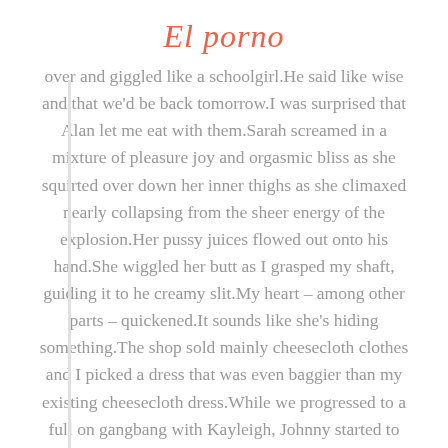El porno
over and giggled like a schoolgirl.He said like wise and that we'd be back tomorrow.I was surprised that Alan let me eat with them.Sarah screamed in a mixture of pleasure joy and orgasmic bliss as she squirted over down her inner thighs as she climaxed nearly collapsing from the sheer energy of the explosion.Her pussy juices flowed out onto his hand.She wiggled her butt as I grasped my shaft, guiding it to he creamy slit.My heart – among other parts – quickened.It sounds like she's hiding something.The shop sold mainly cheesecloth clothes and I picked a dress that was even baggier than my existing cheesecloth dress.While we progressed to a full on gangbang with Kayleigh, Johnny started to